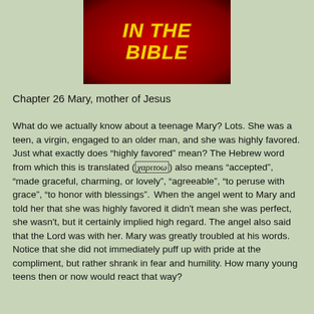[Figure (illustration): Book cover image with red gradient background and yellow italic bold text reading 'IN THE BIBLE']
Chapter 26 Mary, mother of Jesus
What do we actually know about a teenage Mary? Lots. She was a teen, a virgin, engaged to an older man, and she was highly favored. Just what exactly does “highly favored” mean? The Hebrew word from which this is translated (χαριτοω) also means “accepted”, “made graceful, charming, or lovely”, “agreeable”, “to peruse with grace”, “to honor with blessings”.  When the angel went to Mary and told her that she was highly favored it didn’t mean she was perfect, she wasn’t, but it certainly implied high regard. The angel also said that the Lord was with her. Mary was greatly troubled at his words. Notice that she did not immediately puff up with pride at the compliment, but rather shrank in fear and humility. How many young teens then or now would react that way?